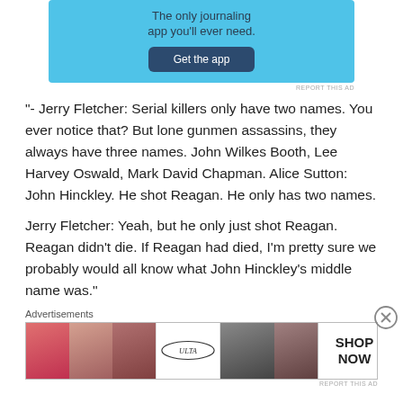[Figure (screenshot): Blue app advertisement banner with text 'The only journaling app you'll ever need.' and a dark blue 'Get the app' button]
REPORT THIS AD
“- Jerry Fletcher: Serial killers only have two names. You ever notice that? But lone gunmen assassins, they always have three names. John Wilkes Booth, Lee Harvey Oswald, Mark David Chapman. Alice Sutton: John Hinckley. He shot Reagan. He only has two names.

Jerry Fletcher: Yeah, but he only just shot Reagan. Reagan didn’t die. If Reagan had died, I’m pretty sure we probably would all know what John Hinckley’s middle name was.”
Advertisements
[Figure (screenshot): Ulta Beauty advertisement banner showing makeup imagery with 'SHOP NOW' text]